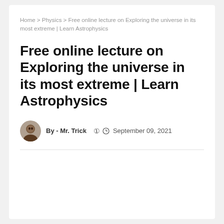Home > Physics > Free online lecture on Exploring the universe in its most extreme | Learn Astrophysics
Free online lecture on Exploring the universe in its most extreme | Learn Astrophysics
By - Mr. Trick  September 09, 2021